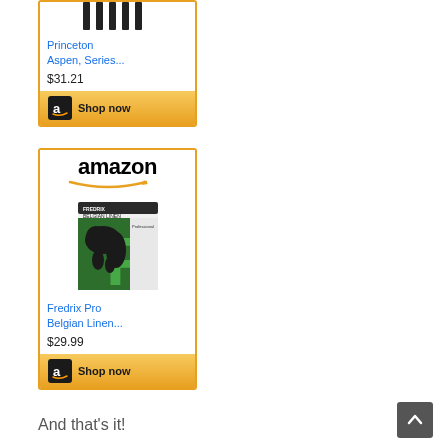[Figure (screenshot): Partial Amazon product card for Princeton Aspen Series, price $31.21 with Shop now button, top portion clipped]
[Figure (screenshot): Amazon product card for Fredrix Pro Belgian Linen, showing amazon logo, product image with lion graphic on green package, price $29.99 with Shop now button]
And that’s it!
[Figure (other): Back to top arrow button, dark gray rounded square with upward chevron]